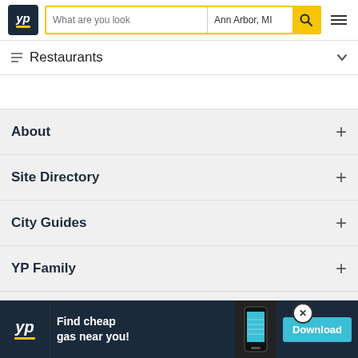YP - What are you looking for - Ann Arbor, MI
Restaurants
About
Site Directory
City Guides
YP Family
Connect With Us
[Figure (screenshot): Ad banner: YP logo, Find cheap gas near you!, phone screenshot, Download button]